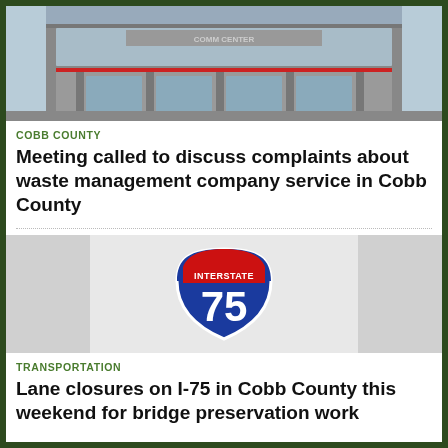[Figure (photo): Exterior photo of a civic/conference center building with glass facade and signage reading COMM CENTER]
COBB COUNTY
Meeting called to discuss complaints about waste management company service in Cobb County
[Figure (illustration): Interstate 75 highway shield sign with red banner reading INTERSTATE and blue shield showing number 75, flanked by grey placeholder image boxes on left and right]
TRANSPORTATION
Lane closures on I-75 in Cobb County this weekend for bridge preservation work